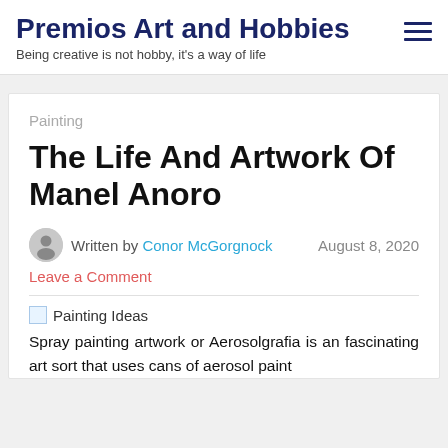Premios Art and Hobbies
Being creative is not hobby, it's a way of life
Painting
The Life And Artwork Of Manel Anoro
Written by Conor McGorgnock   August 8, 2020
Leave a Comment
[Figure (photo): Painting Ideas image placeholder]
Spray painting artwork or Aerosolgrafia is an fascinating art sort that uses cans of aerosol paint as a medium. The on artist can use a large number of